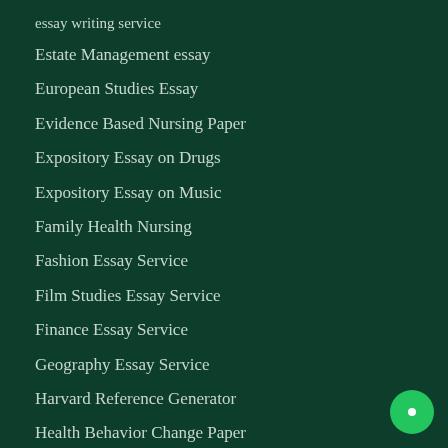essay writing service
Estate Management essay
European Studies Essay
Evidence Based Nursing Paper
Expository Essay on Drugs
Expository Essay on Music
Family Health Nursing
Fashion Essay Service
Film Studies Essay Service
Finance Essay Service
Geography Essay Service
Harvard Reference Generator
Health Behavior Change Paper